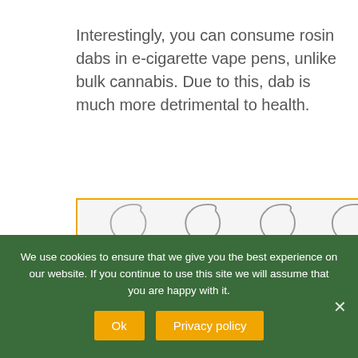Interestingly, you can consume rosin dabs in e-cigarette vape pens, unlike bulk cannabis. Due to this, dab is much more detrimental to health.
[Figure (photo): Row of glass dab rigs/bongs viewed from front, some with green liquid inside, on white background, inside an orange border]
We use cookies to ensure that we give you the best experience on our website. If you continue to use this site we will assume that you are happy with it.